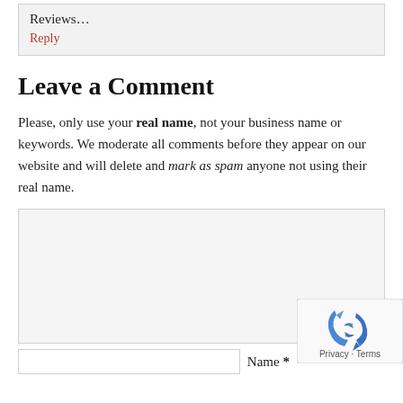Reviews…
Reply
Leave a Comment
Please, only use your real name, not your business name or keywords. We moderate all comments before they appear on our website and will delete and mark as spam anyone not using their real name.
[Figure (other): Comment text area input box (empty, light gray background)]
[Figure (other): reCAPTCHA widget with spinning arrow logo and Privacy · Terms text]
Name *